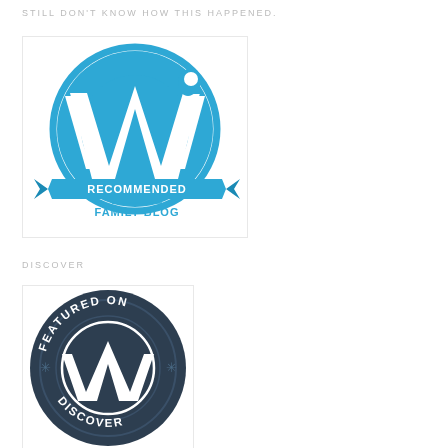STILL DON'T KNOW HOW THIS HAPPENED.
[Figure (logo): WordPress Recommended Family Blog badge — blue circular WordPress logo with 'W' in center, banner ribbon below with text 'RECOMMENDED FAMILY BLOG']
DISCOVER
[Figure (logo): WordPress Featured on Discover badge — dark navy circular badge with WordPress 'W' logo in center, text 'FEATURED ON' at top arc and 'DISCOVER' at bottom arc, decorative asterisks on sides]